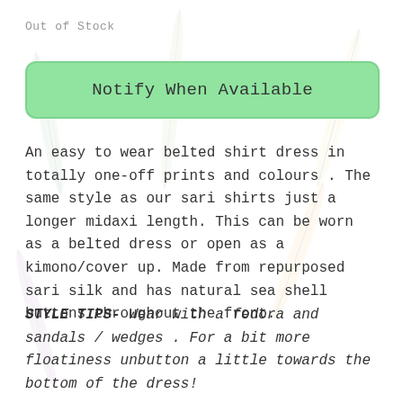Out of Stock
Notify When Available
An easy to wear belted shirt dress in totally one-off prints and colours . The same style as our sari shirts just a longer midaxi length. This can be worn as a belted dress or open as a kimono/cover up. Made from repurposed sari silk and has natural sea shell buttons throughout the front.
STYLE TIPS- Wear with a fedora and sandals / wedges . For a bit more floatiness unbutton a little towards the bottom of the dress!